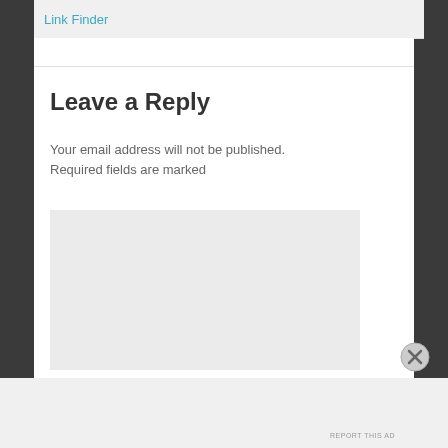Link Finder
Leave a Reply
Your email address will not be published. Required fields are marked
[Figure (other): Empty comment text area input box with light gray background]
Advertisements